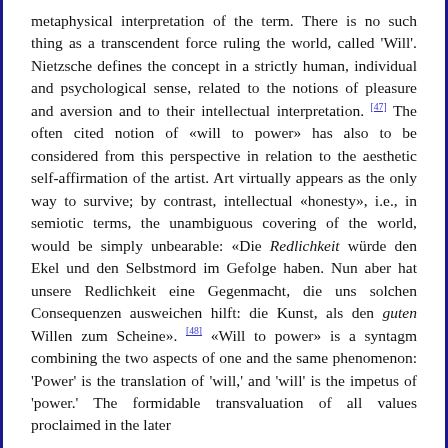metaphysical interpretation of the term. There is no such thing as a transcendent force ruling the world, called 'Will'. Nietzsche defines the concept in a strictly human, individual and psychological sense, related to the notions of pleasure and aversion and to their intellectual interpretation. [47] The often cited notion of «will to power» has also to be considered from this perspective in relation to the aesthetic self-affirmation of the artist. Art virtually appears as the only way to survive; by contrast, intellectual «honesty», i.e., in semiotic terms, the unambiguous covering of the world, would be simply unbearable: «Die Redlichkeit würde den Ekel und den Selbstmord im Gefolge haben. Nun aber hat unsere Redlichkeit eine Gegenmacht, die uns solchen Consequenzen ausweichen hilft: die Kunst, als den guten Willen zum Scheine». [48] «Will to power» is a syntagm combining the two aspects of one and the same phenomenon: 'Power' is the translation of 'will,' and 'will' is the impetus of 'power.' The formidable transvaluation of all values proclaimed in the later